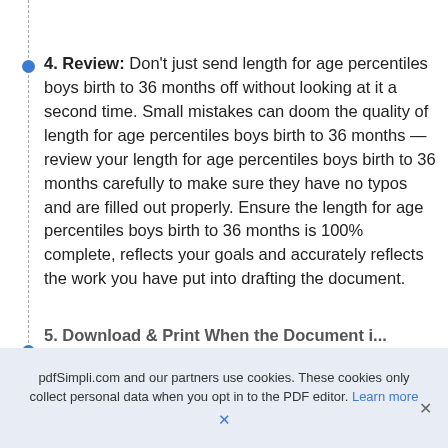4. Review: Don't just send length for age percentiles boys birth to 36 months off without looking at it a second time. Small mistakes can doom the quality of length for age percentiles boys birth to 36 months — review your length for age percentiles boys birth to 36 months carefully to make sure they have no typos and are filled out properly. Ensure the length for age percentiles boys birth to 36 months is 100% complete, reflects your goals and accurately reflects the work you have put into drafting the document.
pdfSimpli.com and our partners use cookies. These cookies only collect personal data when you opt in to the PDF editor. Learn more